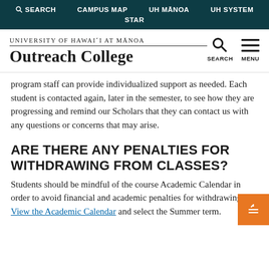SEARCH  CAMPUS MAP  UH MĀNOA  UH SYSTEM  STAR
[Figure (logo): University of Hawai'i at Mānoa Outreach College logo with search and menu icons]
program staff can provide individualized support as needed. Each student is contacted again, later in the semester, to see how they are progressing and remind our Scholars that they can contact us with any questions or concerns that may arise.
ARE THERE ANY PENALTIES FOR WITHDRAWING FROM CLASSES?
Students should be mindful of the course Academic Calendar in order to avoid financial and academic penalties for withdrawing. View the Academic Calendar and select the Summer term.